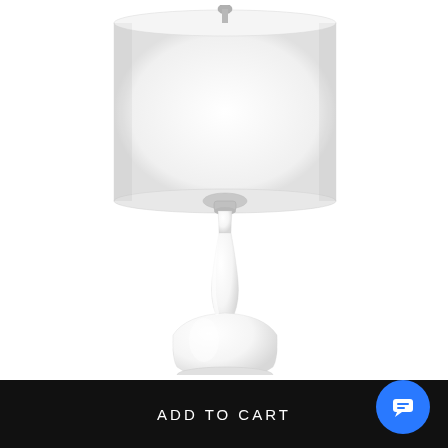[Figure (photo): A white ceramic table lamp with a long curved gourd-shaped base and a large cylindrical white drum shade, photographed against a white background. The lamp has silver/brushed nickel hardware at the top and neck.]
ADD TO CART